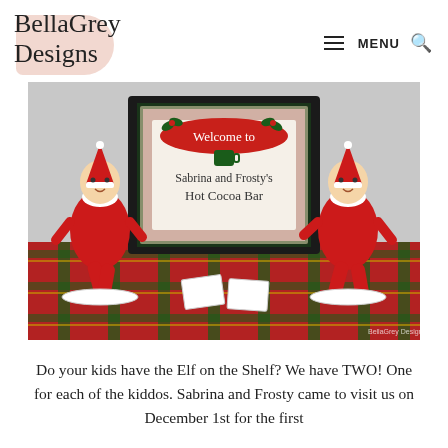BellaGrey Designs — MENU [search]
[Figure (photo): Two Elf on the Shelf dolls in red outfits sitting on white plates on a red plaid tablecloth, flanking a black picture frame with a Christmas 'Welcome to Sabrina and Frosty's Hot Cocoa Bar' sign.]
Do your kids have the Elf on the Shelf? We have TWO! One for each of the kiddos. Sabrina and Frosty came to visit us on December 1st for the first